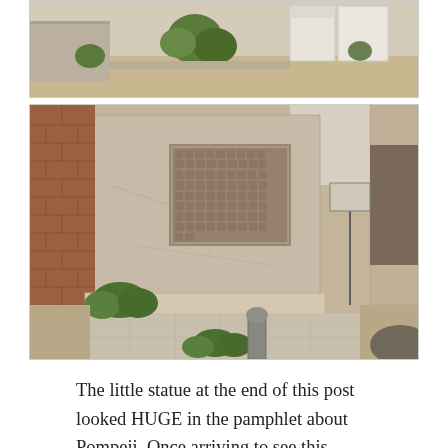[Figure (photo): Top portion of a photo showing an outdoor archaeological site with white stone structures, green shrubs/trees, and sandy ground - appears to be Pompeii ruins from above]
[Figure (photo): Photo of ancient Pompeii ruins showing a large plaster/stone wall structure with a recessed mosaic or stone panel, brick wall on left, green shrubs at base, a bollard/post in foreground, and an information sign stand in the background]
The little statue at the end of this post looked HUGE in the pamphlet about Pompeii. Once arriving to see this “attraction”, it was slightly